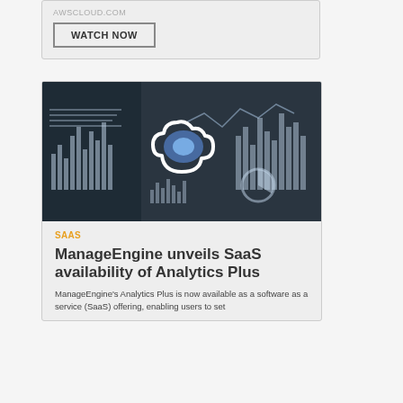AWSCLOUD.COM
WATCH NOW
[Figure (photo): Technology concept image featuring a person touching a glowing cloud icon surrounded by data charts, bar graphs, and analytics dashboards on a dark blue background]
SAAS
ManageEngine unveils SaaS availability of Analytics Plus
ManageEngine's Analytics Plus is now available as a software as a service (SaaS) offering, enabling users to set